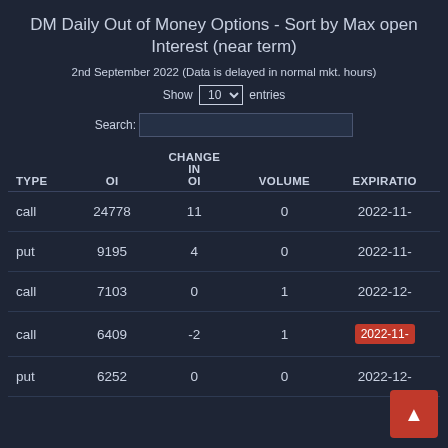DM Daily Out of Money Options - Sort by Max open Interest (near term)
2nd September 2022 (Data is delayed in normal mkt. hours)
Show 10 entries
Search:
| TYPE | OI | CHANGE IN OI | VOLUME | EXPIRATIO |
| --- | --- | --- | --- | --- |
| call | 24778 | 11 | 0 | 2022-11- |
| put | 9195 | 4 | 0 | 2022-11- |
| call | 7103 | 0 | 1 | 2022-12- |
| call | 6409 | -2 | 1 | 2022-11- |
| put | 6252 | 0 | 0 | 2022-12- |